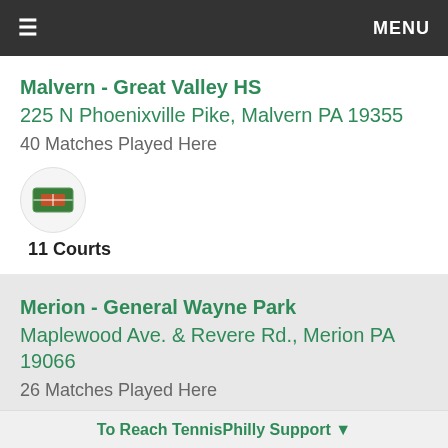≡  MENU
Malvern - Great Valley HS
225 N Phoenixville Pike, Malvern PA 19355
40 Matches Played Here
[Figure (illustration): Tennis court surface icon (green/clay) inside a white circle, with label '11 Courts' below]
Merion - General Wayne Park
Maplewood Ave. & Revere Rd., Merion PA 19066
26 Matches Played Here
[Figure (illustration): Tennis court surface icon (green/clay) in a circle and a brick wall icon in a circle, with labels '2 Courts  Wall' below]
To Reach TennisPhilly Support ▼